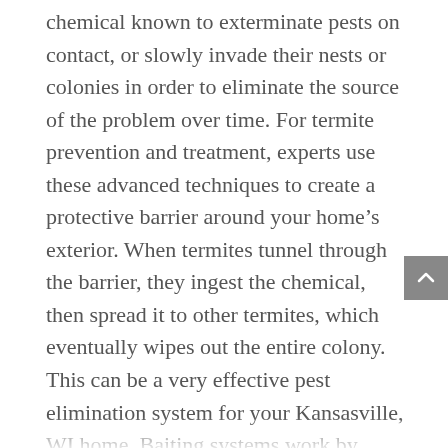chemical known to exterminate pests on contact, or slowly invade their nests or colonies in order to eliminate the source of the problem over time. For termite prevention and treatment, experts use these advanced techniques to create a protective barrier around your home's exterior. When termites tunnel through the barrier, they ingest the chemical, then spread it to other termites, which eventually wipes out the entire colony. This can be a very effective pest elimination system for your Kansasville, WI home. Baiting systems work by placing stations filled with a pest's favorite foods in the ground around your home. Once pest activity is detected, the stations are laced with chemicals that eliminate nests and colonies over time. This, too, is an effective pest control system used by experts. If you're worried about the safety of termite treatment and pest control solutions for